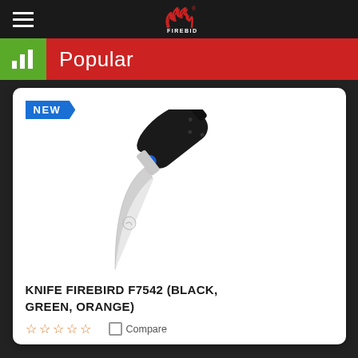FIREBID (logo/navigation header)
Popular
[Figure (photo): A folding knife (Firebird F7542) with a black G10 handle and silver drop-point blade, with a blue pivot. A 'NEW' badge is shown in the top-left corner of the product card.]
KNIFE FIREBIRD F7542 (BLACK, GREEN, ORANGE)
☆☆☆☆☆  Compare